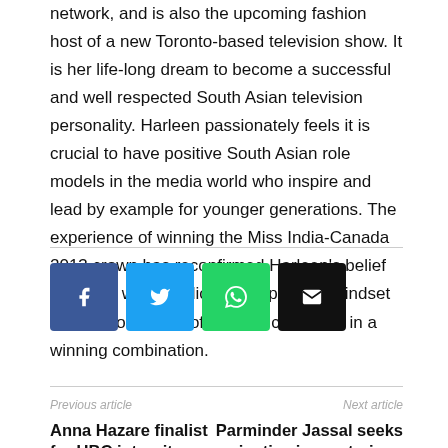network, and is also the upcoming fashion host of a new Toronto-based television show. It is her life-long dream to become a successful and well respected South Asian television personality. Harleen passionately feels it is crucial to have positive South Asian role models in the media world who inspire and lead by example for younger generations. The experience of winning the Miss India-Canada 2013 crown has reconfirmed Harleen’s belief that hard work, dedication, a positive mindset and a good sense of humour can result in a winning combination.
[Figure (other): Social sharing buttons: Facebook Like button showing 0 likes, followed by icons for Facebook, Twitter, WhatsApp, and Email]
Previous article
Next article
Anna Hazare finalist for UBC integrity prize
Parminder Jassal seeks justice in mysterious death